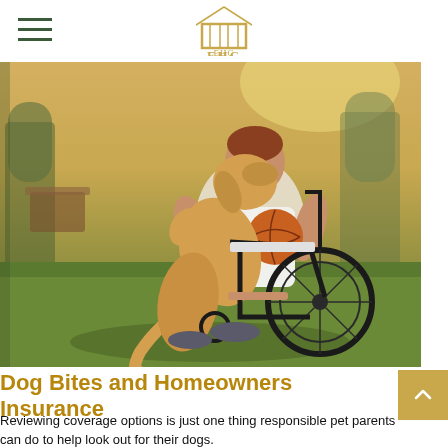EHC
[Figure (photo): A man in a wheelchair in a park holding a basketball, being affectionately licked/nuzzled by a golden retriever dog. Warm outdoor lighting with green grass and trees in the background.]
Dog Bites and Homeowners Insurance
Reviewing coverage options is just one thing responsible pet parents can do to help look out for their dogs.